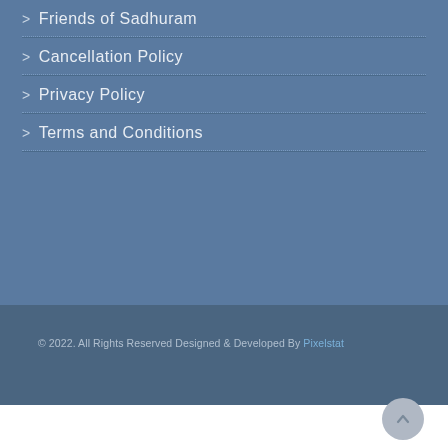Friends of Sadhuram
Cancellation Policy
Privacy Policy
Terms and Conditions
© 2022. All Rights Reserved Designed & Developed By Pixelstat